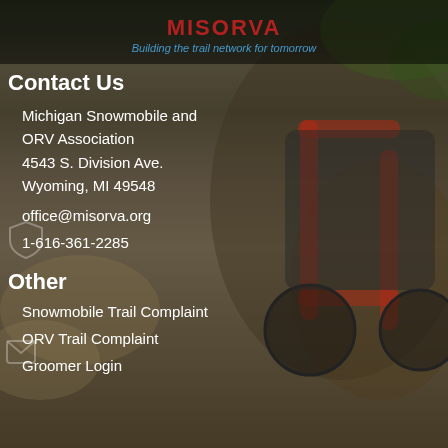MISORVA - Building the trail network for tomorrow
Contact Us
Michigan Snowmobile and ORV Association
4543 S. Division Ave.
Wyoming, MI 49548
office@misorva.org
1-616-361-2285
Other
Snowmobile Trail Complaint
ORV Trail Complaint
Groomer Login
[Figure (photo): Off-road vehicle (UTV/side-by-side) with red roll cage navigating a muddy trail, outdoor action photo used as background]